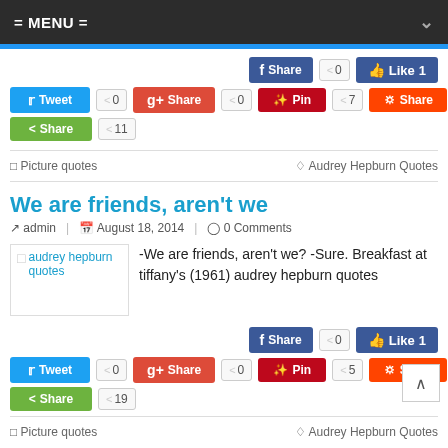= MENU =
[Figure (screenshot): Social sharing buttons row 1: Facebook Share (0), Like 1]
[Figure (screenshot): Social sharing buttons row 2: Tweet (0), G+ Share (0), Pin (7), Share (0)]
[Figure (screenshot): Social sharing buttons row 3: Share green (11)]
Picture quotes | Audrey Hepburn Quotes
We are friends, aren't we
admin | August 18, 2014 | 0 Comments
[Figure (photo): audrey hepburn quotes image placeholder]
-We are friends, aren't we? -Sure. Breakfast at tiffany's (1961) audrey hepburn quotes
[Figure (screenshot): Social sharing buttons bottom: Facebook Share (0), Like 1, Tweet (0), G+ Share (0), Pin (5), Share (0), Share green (19)]
Picture quotes | Audrey Hepburn Quotes